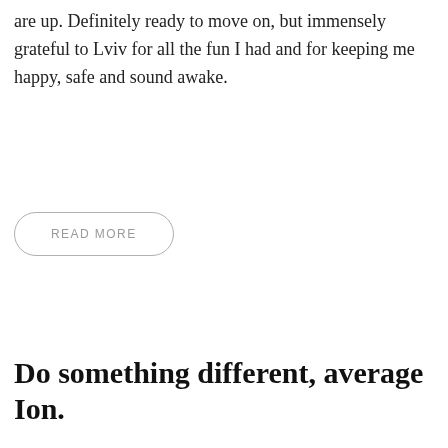are up. Definitely ready to move on, but immensely grateful to Lviv for all the fun I had and for keeping me happy, safe and sound awake.
READ MORE
Do something different, average Ion.
Sep 03, 2018   1 Comment
[Figure (photo): A photo with a dark/black top area and a beige/tan lower section, partially visible at the bottom of the page.]